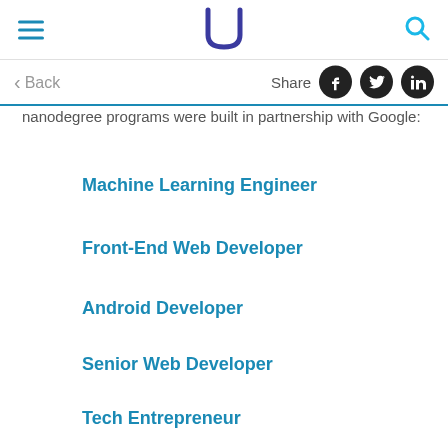Udacity navigation header with hamburger menu, logo, and search icon
... nanodegree programs were built in partnership with Google:
Machine Learning Engineer
Front-End Web Developer
Android Developer
Senior Web Developer
Tech Entrepreneur